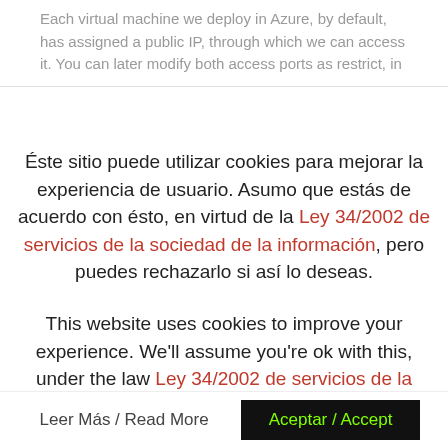Each virtual machine we deploy in Azure, by default, has assigned a public IP, through which we can access it. You can later modify both access ports as restrict, in
Éste sitio puede utilizar cookies para mejorar la experiencia de usuario. Asumo que estás de acuerdo con ésto, en virtud de la Ley 34/2002 de servicios de la sociedad de la información, pero puedes rechazarlo si así lo deseas.
This website uses cookies to improve your experience. We'll assume you're ok with this, under the law Ley 34/2002 de servicios de la sociedad de la información, but you can opt-out if you wish.
Leer Más / Read More
Aceptar / Accept